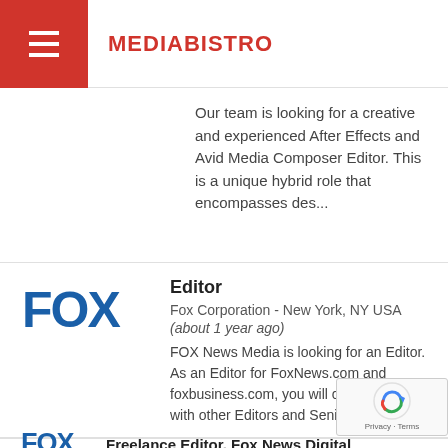MEDIABISTRO
Our team is looking for a creative and experienced After Effects and Avid Media Composer Editor. This is a unique hybrid role that encompasses des...
Editor
Fox Corporation - New York, NY USA
(about 1 year ago)
FOX News Media is looking for an Editor. As an Editor for FoxNews.com and foxbusiness.com, you will collaborate with other Editors and Senior Edito...
Freelance Editor, Fox News Digital